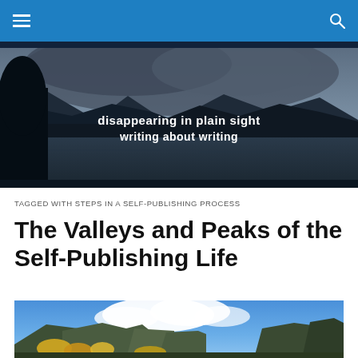Navigation bar with hamburger menu and search icon
[Figure (photo): Hero banner photo of a mountain lake at dusk with misty mountains in the background, dark silhouette of trees on the left. Text overlay reads: 'disappearing in plain sight / writing about writing']
TAGGED WITH STEPS IN A SELF-PUBLISHING PROCESS
The Valleys and Peaks of the Self-Publishing Life
[Figure (photo): Landscape photo showing rocky canyon mesas under a blue sky with white clouds and autumn yellow foliage in the foreground]